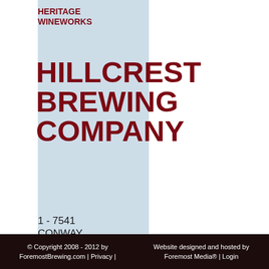HERITAGE WINEWORKS
HILLCREST BREWING COMPANY
1 - 7541 CONWAY AVE BURNABY, BC V5E 2P7
Read more about
© Copyright 2008 - 2012 by ForemostBrewing.com | Privacy | Website designed and hosted by Foremost Media® | Login